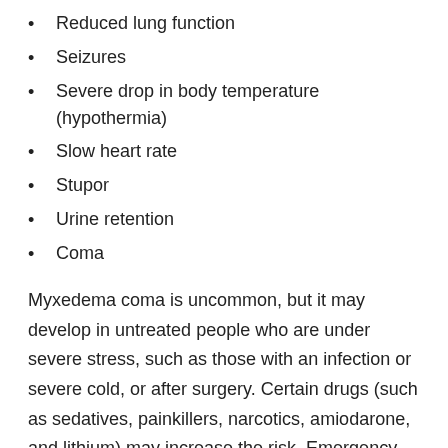Reduced lung function
Seizures
Severe drop in body temperature (hypothermia)
Slow heart rate
Stupor
Urine retention
Coma
Myxedema coma is uncommon, but it may develop in untreated people who are under severe stress, such as those with an infection or severe cold, or after surgery. Certain drugs (such as sedatives, painkillers, narcotics, amiodarone, and lithium) may increase the risk. Emergency treatment is required.
Suppurative Thyroiditis
A life-threatening infection of the thyroid gland. It is very